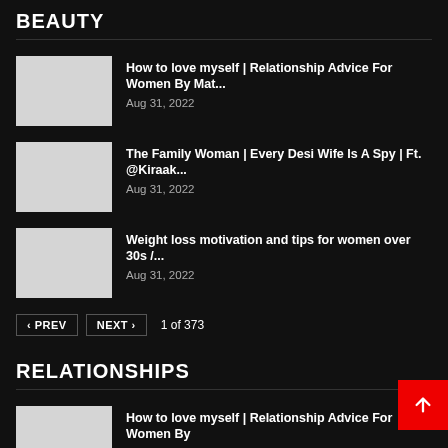BEAUTY
How to love myself | Relationship Advice For Women By Mat...
Aug 31, 2022
The Family Woman | Every Desi Wife Is A Spy | Ft. @Kiraak...
Aug 31, 2022
Weight loss motivation and tips for women over 30s /...
Aug 31, 2022
‹ PREV   NEXT ›   1 of 373
RELATIONSHIPS
How to love myself | Relationship Advice For Women By...
Aug 31, 2022